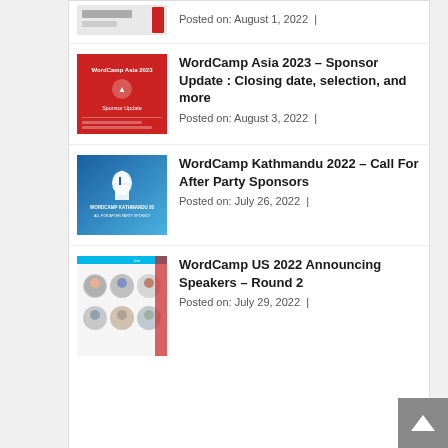[Figure (screenshot): Partially visible thumbnail image at top (cropped)]
Posted on: August 1, 2022  |
[Figure (screenshot): WordCamp Asia 2023 Sponsor Update red thumbnail]
WordCamp Asia 2023 – Sponsor Update : Closing date, selection, and more
Posted on: August 3, 2022  |
[Figure (screenshot): WordCamp Kathmandu 2022 blue thumbnail with logo]
WordCamp Kathmandu 2022 – Call For After Party Sponsors
Posted on: July 26, 2022  |
[Figure (screenshot): WordCamp US 2022 speakers grid thumbnail]
WordCamp US 2022 Announcing Speakers – Round 2
Posted on: July 29, 2022  |